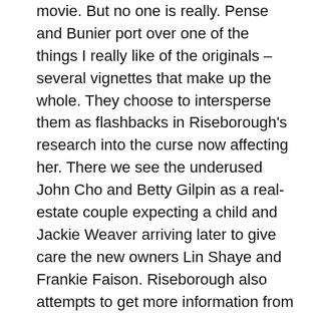movie. But no one is really. Pense and Bunier port over one of the things I really like of the originals – several vignettes that make up the whole. They choose to intersperse them as flashbacks in Riseborough's research into the curse now affecting her. There we see the underused John Cho and Betty Gilpin as a real-estate couple expecting a child and Jackie Weaver arriving later to give care the new owners Lin Shaye and Frankie Faison. Riseborough also attempts to get more information from her partner Demain Bichir (The Nun) who investigated the previous events with Bill Sadler (!!) Each of these compatible performers give their all from what they're given and I liked seeing them each, even if their characters don't change a lick. No growth or arcs, just popping in just as soon as you forget they are in the movie.